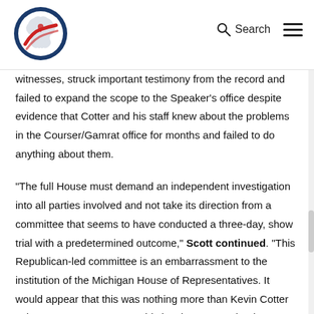Michigan logo, Search, Menu
witnesses, struck important testimony from the record and failed to expand the scope to the Speaker's office despite evidence that Cotter and his staff knew about the problems in the Courser/Gamrat office for months and failed to do anything about them.
“The full House must demand an independent investigation into all parties involved and not take its direction from a committee that seems to have conducted a three-day, show trial with a predetermined outcome,” Scott continued. “This Republican-led committee is an embarrassment to the institution of the Michigan House of Representatives. It would appear that this was nothing more than Kevin Cotter using a McBroom to sweep his involvement under the rug.”